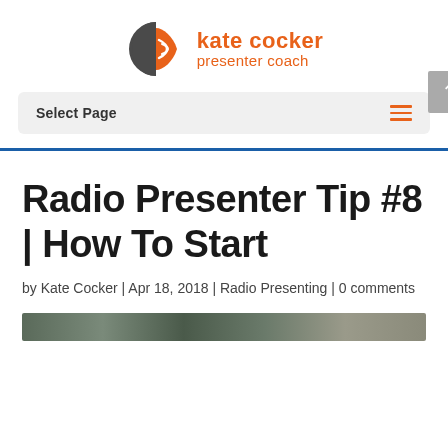[Figure (logo): Kate Cocker Presenter Coach logo with a stylized K in dark gray and orange, followed by the text 'kate cocker presenter coach' in orange]
Select Page
Radio Presenter Tip #8 | How To Start
by Kate Cocker | Apr 18, 2018 | Radio Presenting | 0 comments
[Figure (photo): Partial image strip visible at the bottom of the page, appearing to show a green/natural scene]